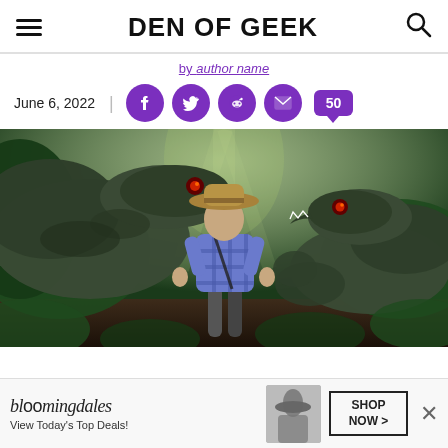DEN OF GEEK
June 6, 2022
[Figure (photo): Man in a plaid shirt and hat standing between two raptors in a jungle setting — Jurassic World scene]
[Figure (photo): Bloomingdales advertisement: 'bloomingdales View Today's Top Deals!' with woman in hat, SHOP NOW button]